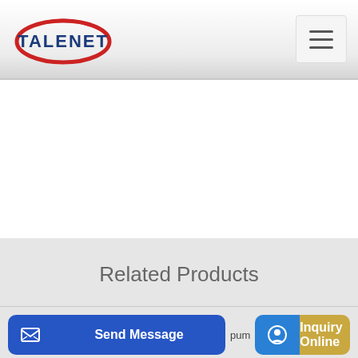[Figure (logo): Talenet company logo with red ellipse and blue text TALENET]
[Figure (other): Hamburger menu button (three horizontal lines) in top right corner]
Related Products
concrete pole cement concrete mixer plant machine
Concrete Line Pumping Service Tacoma
pum
Send Message
Inquiry Online